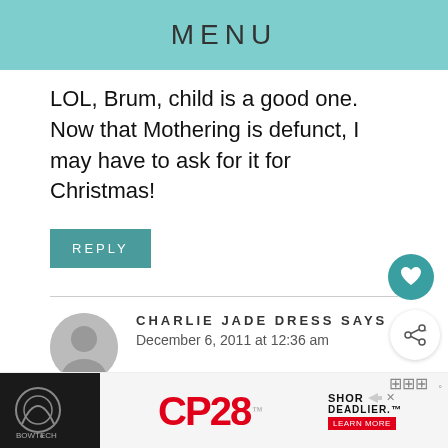MENU
LOL, Brum, child is a good one. Now that Mothering is defunct, I may have to ask for it for Christmas!
REPLY
CHARLIE JADE DRESS SAYS
December 6, 2011 at 12:36 am
September is well for color combinations. I love this month. The picture you post has nice color combinations, perfect for this month natural style.
[Figure (photo): Advertisement banner for Bowtech CP28 bow - SHOR DEADLIER with LEARN MORE button]